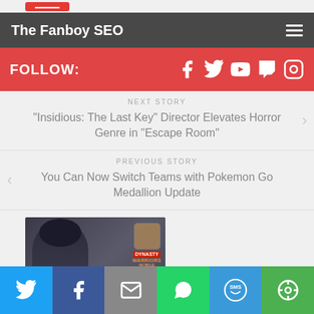The Fanboy SEO
FOLLOW:
NEXT STORY
“Insidious: The Last Key” Director Elevates Horror Genre in “Escape Room”
PREVIOUS STORY
You Can Now Switch Teams with Pokemon Go Medallion Update
[Figure (screenshot): Thumbnail image showing Dynasty Warriors mobile game promotional art with a character and game logo badge]
Share buttons: Twitter, Facebook, Email, WhatsApp, SMS, More